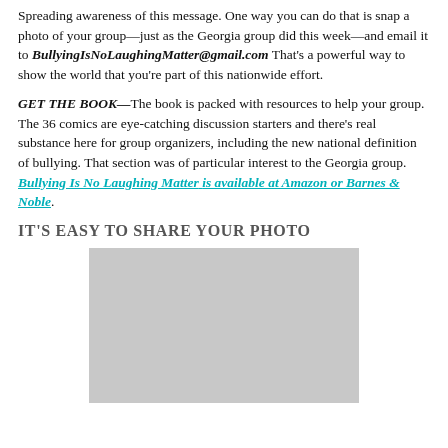Spreading awareness of this message. One way you can do that is snap a photo of your group—just as the Georgia group did this week—and email it to BullyingIsNoLaughingMatter@gmail.com That's a powerful way to show the world that you're part of this nationwide effort.
GET THE BOOK—The book is packed with resources to help your group. The 36 comics are eye-catching discussion starters and there's real substance here for group organizers, including the new national definition of bullying. That section was of particular interest to the Georgia group. Bullying Is No Laughing Matter is available at Amazon or Barnes & Noble.
IT'S EASY TO SHARE YOUR PHOTO
[Figure (photo): Gray placeholder image representing a group photo]